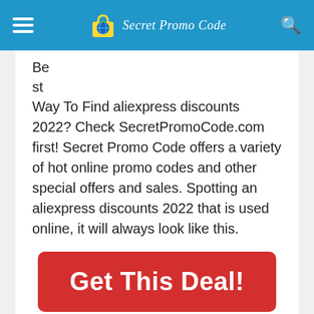SecretPromoCode
Be
st
Way To Find aliexpress discounts 2022? Check SecretPromoCode.com first! Secret Promo Code offers a variety of hot online promo codes and other special offers and sales. Spotting an aliexpress discounts 2022 that is used online, it will always look like this.
[Figure (other): Red rounded button with white bold text reading 'Get This Deal!']
We update aliexpress discounts 2022 offers every 2 hours (last update: 2nd September